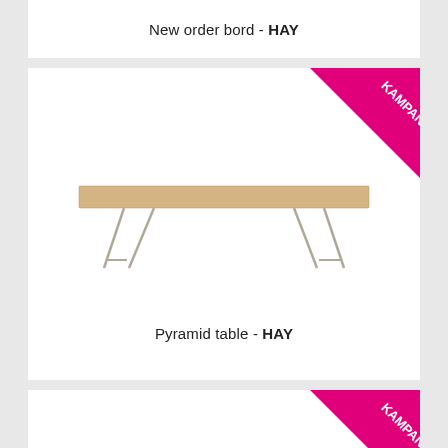New order bord - HAY
[Figure (photo): Pyramid table with light oak top and silver A-frame metal legs, with KAMPANJI banner in top-right corner]
Pyramid table - HAY
[Figure (photo): Partial view of another product card with KAMPANJI banner in top-right corner]